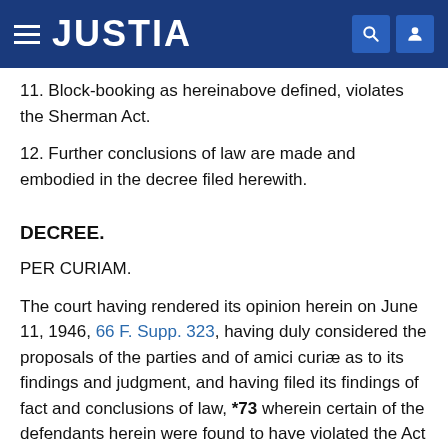JUSTIA
11. Block-booking as hereinabove defined, violates the Sherman Act.
12. Further conclusions of law are made and embodied in the decree filed herewith.
DECREE.
PER CURIAM.
The court having rendered its opinion herein on June 11, 1946, 66 F. Supp. 323, having duly considered the proposals of the parties and of amici curiæ as to its findings and judgment, and having filed its findings of fact and conclusions of law, *73 wherein certain of the defendants herein were found to have violated the Act